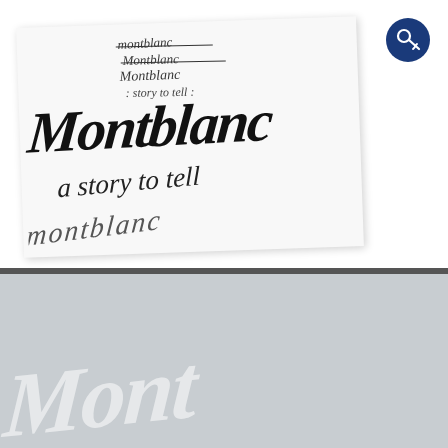[Figure (photo): Photograph of a white paper card with calligraphic handwriting showing Montblanc brand name sketches and the text 'a story to tell', with overlapping script attempts. A dark navy key icon badge appears in the top right corner. Below the photo is a gray section with partial white script lettering.]